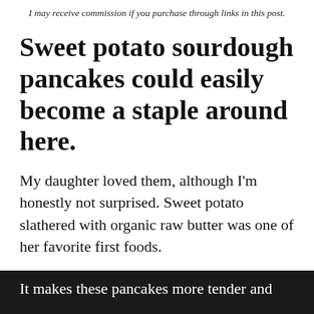I may receive commission if you purchase through links in this post.
Sweet potato sourdough pancakes could easily become a staple around here.
My daughter loved them, although I'm honestly not surprised. Sweet potato slathered with organic raw butter was one of her favorite first foods.
Here, the sweet potato adds a natural sweetness, earthiness and deep flavor to the sourdough. It makes these pancakes more tender and